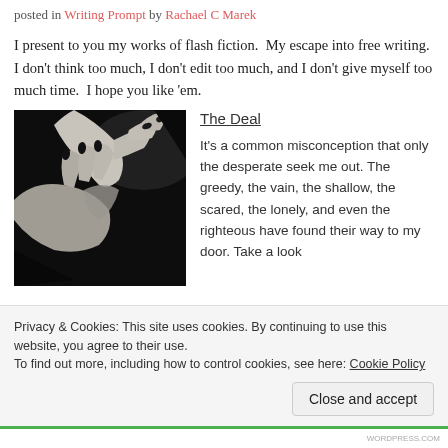posted in Writing Prompt by Rachael C Marek
I present to you my works of flash fiction. My escape into free writing. I don't think too much, I don't edit too much, and I don't give myself too much time. I hope you like 'em.
[Figure (photo): Black and white photograph of two hands clasping/shaking hands with dark fingernails]
The Deal
It's a common misconception that only the desperate seek me out. The greedy, the vain, the shallow, the scared, the lonely, and even the righteous have found their way to my door. Take a look
Privacy & Cookies: This site uses cookies. By continuing to use this website, you agree to their use.
To find out more, including how to control cookies, see here: Cookie Policy
Close and accept